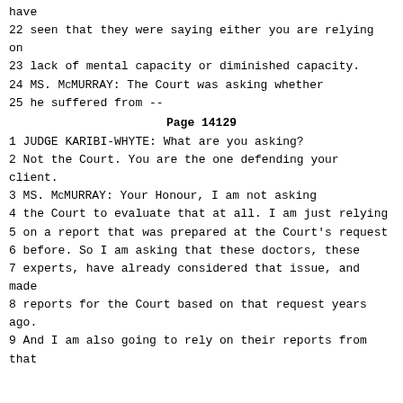have
22 seen that they were saying either you are relying on
23 lack of mental capacity or diminished capacity.
24 MS. McMURREY: The Court was asking whether
25 he suffered from --
Page 14129
1 JUDGE KARIBI-WHYTE: What are you asking?
2 Not the Court. You are the one defending your client.
3 MS. McMURREY: Your Honour, I am not asking
4 the Court to evaluate that at all. I am just relying
5 on a report that was prepared at the Court's request
6 before. So I am asking that these doctors, these
7 experts, have already considered that issue, and made
8 reports for the Court based on that request years ago.
9 And I am also going to rely on their reports from that